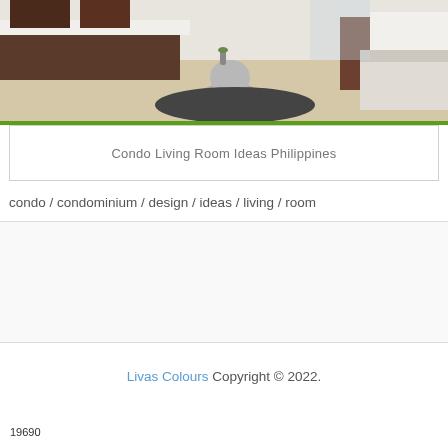[Figure (photo): Interior photo of a modern condo living room with white furniture, dark wood accents, a round metallic side table, dark rug, and light wood flooring]
Condo Living Room Ideas Philippines
condo / condominium / design / ideas / living / room
Livas Colours Copyright © 2022.
19690